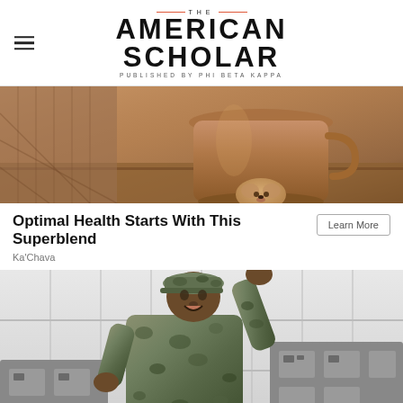THE AMERICAN SCHOLAR — PUBLISHED BY PHI BETA KAPPA
[Figure (photo): Close-up photo of a copper pot on a wooden surface with a small dog peeking out from behind it]
Optimal Health Starts With This Superblend
Ka'Chava
[Figure (photo): Person in military camouflage uniform gesturing near washing machines/laundry equipment against a white tiled wall]